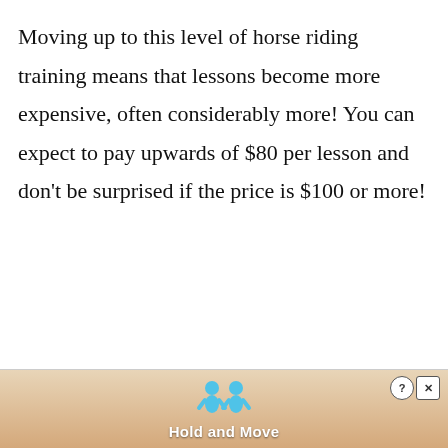Moving up to this level of horse riding training means that lessons become more expensive, often considerably more! You can expect to pay upwards of $80 per lesson and don't be surprised if the price is $100 or more!
[Figure (illustration): Advertisement banner at bottom of page showing cartoon figures and text 'Hold and Move' with a question mark and X button in the top right corner]